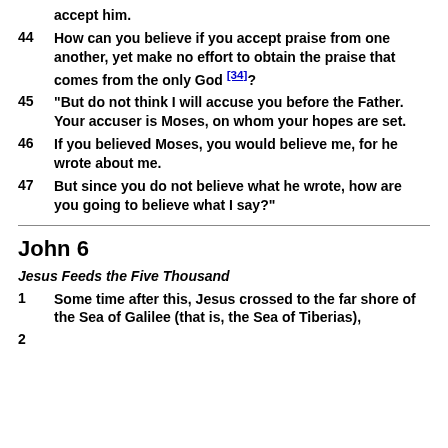accept him.
44 How can you believe if you accept praise from one another, yet make no effort to obtain the praise that comes from the only God [34]?
45 "But do not think I will accuse you before the Father. Your accuser is Moses, on whom your hopes are set.
46 If you believed Moses, you would believe me, for he wrote about me.
47 But since you do not believe what he wrote, how are you going to believe what I say?"
John 6
Jesus Feeds the Five Thousand
1 Some time after this, Jesus crossed to the far shore of the Sea of Galilee (that is, the Sea of Tiberias),
2